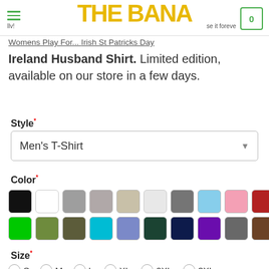THE BANA — navigation header with cart (0)
Womens Play For... Irish St Patricks Day Ireland Husband Shirt. Limited edition, available on our store in a few days.
Style*
Men's T-Shirt
Color*
[Figure (other): Two rows of color swatches: Row 1: black, white, gray, light gray/mauve, beige, light gray, dark gray, light blue, pink, red/crimson, navy. Row 2: green, olive green, dark olive, teal/turquoise, periwinkle blue, dark green, navy dark, purple, gray-brown, brown, yellow-green.]
Size*
S   M   L   XL   2XL   3XL